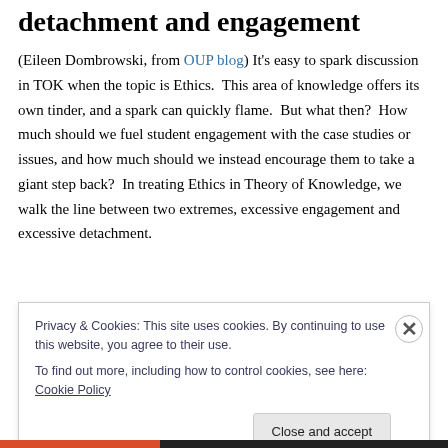detachment and engagement
(Eileen Dombrowski, from OUP blog) It's easy to spark discussion in TOK when the topic is Ethics.  This area of knowledge offers its own tinder, and a spark can quickly flame.  But what then?  How much should we fuel student engagement with the case studies or issues, and how much should we instead encourage them to take a giant step back?  In treating Ethics in Theory of Knowledge, we walk the line between two extremes, excessive engagement and excessive detachment.
Privacy & Cookies: This site uses cookies. By continuing to use this website, you agree to their use.
To find out more, including how to control cookies, see here: Cookie Policy